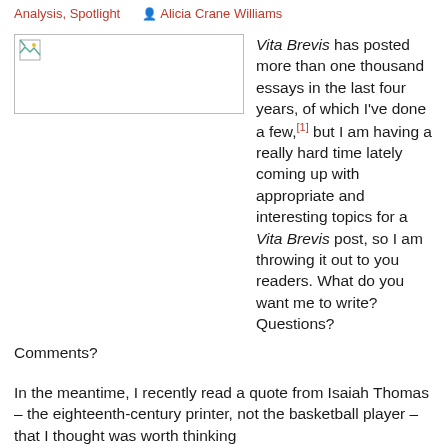Analysis, Spotlight  Alicia Crane Williams
[Figure (photo): Broken/missing image placeholder box]
Vita Brevis has posted more than one thousand essays in the last four years, of which I've done a few,[1] but I am having a really hard time lately coming up with appropriate and interesting topics for a Vita Brevis post, so I am throwing it out to you readers. What do you want me to write? Questions? Comments?
In the meantime, I recently read a quote from Isaiah Thomas – the eighteenth-century printer, not the basketball player – that I thought was worth thinking